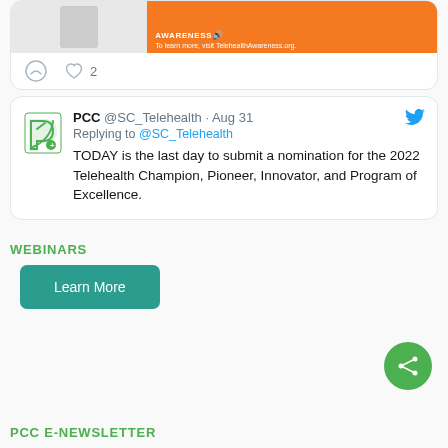[Figure (screenshot): Top portion of a Twitter/social media card showing an orange Telehealth Awareness banner image with text 'To learn more, visit TelehealthAwareness.org' and comment/like icons with count of 2]
[Figure (screenshot): Twitter post by PCC @SC_Telehealth from Aug 31, replying to @SC_Telehealth. Text: TODAY is the last day to submit a nomination for the 2022 Telehealth Champion, Pioneer, Innovator, and Program of Excellence.]
WEBINARS
Learn More
PCC E-NEWSLETTER